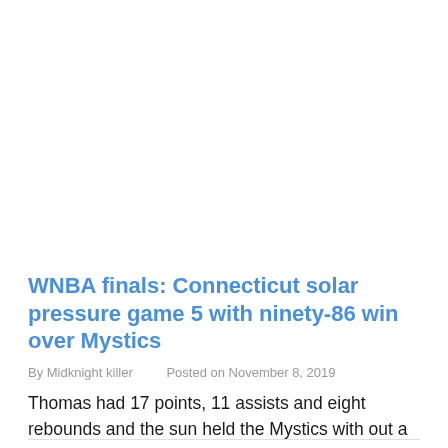WNBA finals: Connecticut solar pressure game 5 with ninety-86 win over Mystics
By Midknight killer    Posted on November 8, 2019
Thomas had 17 points, 11 assists and eight rebounds and the sun held the Mystics with out a factor over […]